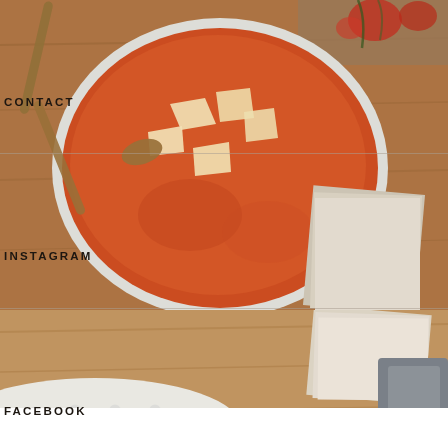[Figure (photo): Overhead view of a bowl of orange/red soup with white torn pieces (pasta or cheese) on top, being stirred with a wooden spoon, on a wooden surface. A green plant and tomatoes visible in upper right corner.]
CONTACT
INSTAGRAM
FACEBOOK
YOUTUBE
[Figure (photo): Close-up of a white knitted/textured fabric (blanket or sweater) on a wooden table with a grey chair visible in background.]
ABOUT NOELLE